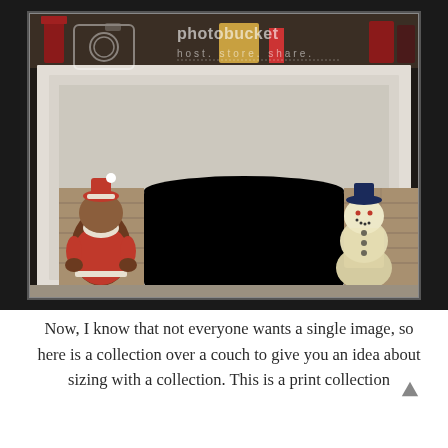[Figure (photo): A photograph of a white fireplace mantel with Christmas decorations. A Santa-dressed bear figurine sits on the left side of the firebox, and a snowman figurine sits on the right side. The mantel top has holiday decorations. The image has a Photobucket watermark overlay with camera icon, logo text 'photobucket' and tagline 'host. store. share.' The photo is set against a dark/black background border.]
Now, I know that not everyone wants a single image, so here is a collection over a couch to give you an idea about sizing with a collection. This is a print collection